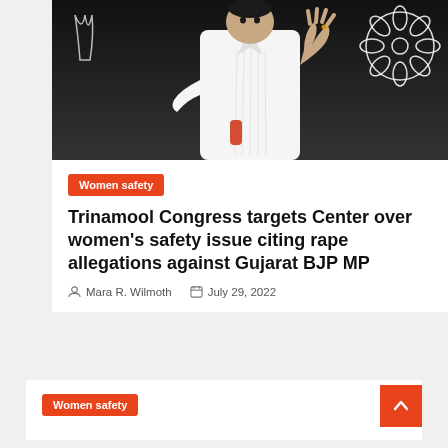[Figure (photo): Person in white kurta with hand raised, TMC (Trinamool Congress) symbol visible in background]
Women safety
Trinamool Congress targets Center over women's safety issue citing rape allegations against Gujarat BJP MP
Mara R. Wilmoth   July 29, 2022
Women safety